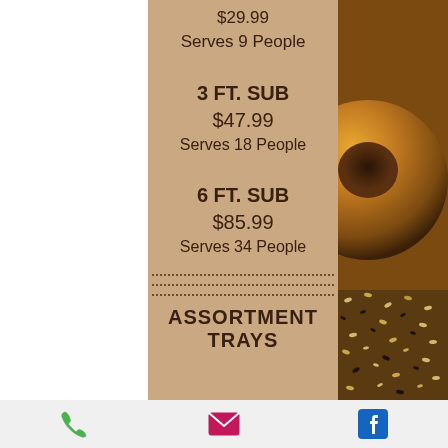$29.99
Serves 9 People
3 FT. SUB
$47.99
Serves 18 People
6 FT. SUB
$85.99
Serves 34 People
ASSORTMENT TRAYS
Phone | Email | Facebook